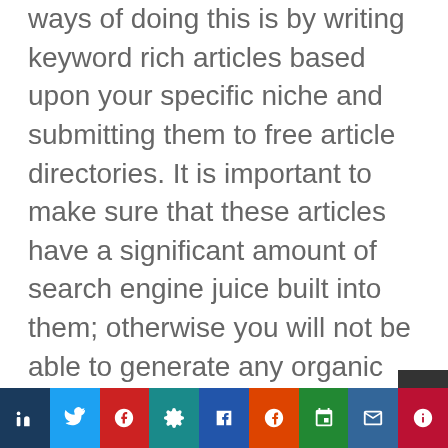ways of doing this is by writing keyword rich articles based upon your specific niche and submitting them to free article directories. It is important to make sure that these articles have a significant amount of search engine juice built into them; otherwise you will not be able to generate any organic traffic. There are numerous free article submission directories that can be found online.
[Figure (infographic): Social sharing toolbar with 9 colored buttons (dark blue, light blue, red, teal, mid blue, orange, green, steel blue, crimson), each containing a small white icon]